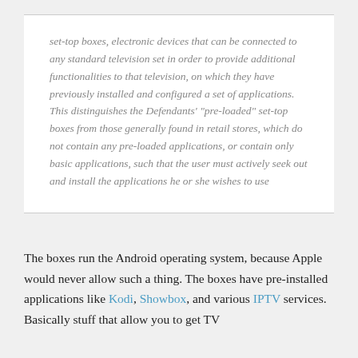set-top boxes, electronic devices that can be connected to any standard television set in order to provide additional functionalities to that television, on which they have previously installed and configured a set of applications. This distinguishes the Defendants' "pre-loaded" set-top boxes from those generally found in retail stores, which do not contain any pre-loaded applications, or contain only basic applications, such that the user must actively seek out and install the applications he or she wishes to use
The boxes run the Android operating system, because Apple would never allow such a thing. The boxes have pre-installed applications like Kodi, Showbox, and various IPTV services. Basically stuff that allow you to get TV